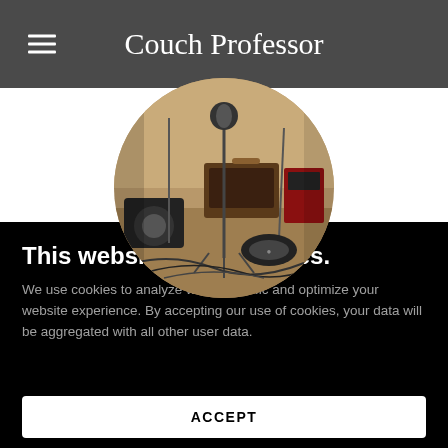Couch Professor
[Figure (photo): Circular cropped photo of a music recording studio or rehearsal space with guitar amplifiers, microphone stands, cables on the floor, and music equipment.]
This website uses cookies.
We use cookies to analyze website traffic and optimize your website experience. By accepting our use of cookies, your data will be aggregated with all other user data.
ACCEPT